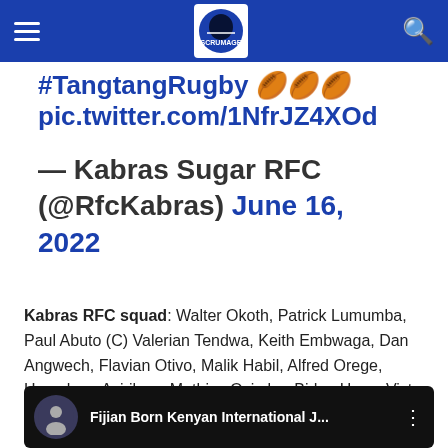#TangtangRugby 🏉🏉🏉 pic.twitter.com/1NfrJZ4XOd
— Kabras Sugar RFC (@RfcKabras) June 16, 2022
Kabras RFC squad: Walter Okoth, Patrick Lumumba, Paul Abuto (C) Valerian Tendwa, Keith Embwaga, Dan Angwech, Flavian Otivo, Malik Habil, Alfred Orege, Humphrey Asirikwa, Mathias Osimbo, Biden Hayo, Victor Otieno
[Figure (screenshot): Video thumbnail showing a rugby player silhouette icon with text 'Fijian Born Kenyan International J...' on dark background]